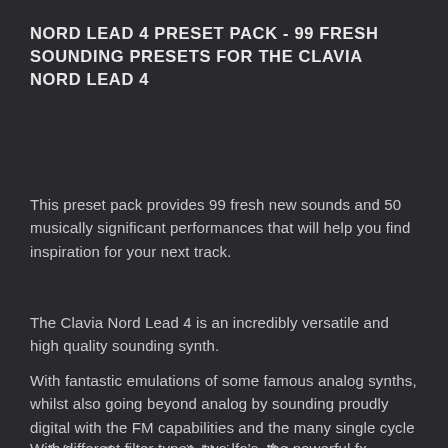NORD LEAD 4 PRESET PACK - 99 FRESH SOUNDING PRESETS FOR THE CLAVIA NORD LEAD 4
This preset pack provides 99 fresh new sounds and 50 musically significant performances that will help you find inspiration for your next track.
The Clavia Nord Lead 4 is an incredibly versatile and high quality sounding synth.
With fantastic emulations of some famous analog synths, whilst also going beyond analog by sounding proudly digital with the FM capabilities and the many single cycle wafeforms that are available in oscillator one.
With different filter types, two lfo's, the powerful fx section